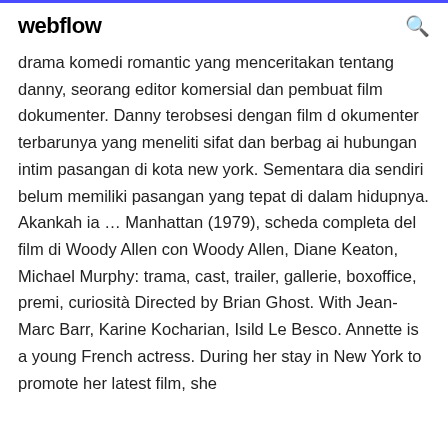webflow
drama komedi romantic yang menceritakan tentang danny, seorang editor komersial dan pembuat film dokumenter. Danny terobsesi dengan film dokumenter terbarunya yang meneliti sifat dan berbagai hubungan intim pasangan di kota new york. Sementara dia sendiri belum memiliki pasangan yang tepat di dalam hidupnya. Akankah ia … Manhattan (1979), scheda completa del film di Woody Allen con Woody Allen, Diane Keaton, Michael Murphy: trama, cast, trailer, gallerie, boxoffice, premi, curiosità Directed by Brian Ghost. With Jean-Marc Barr, Karine Kocharian, Isild Le Besco. Annette is a young French actress. During her stay in New York to promote her latest film, she